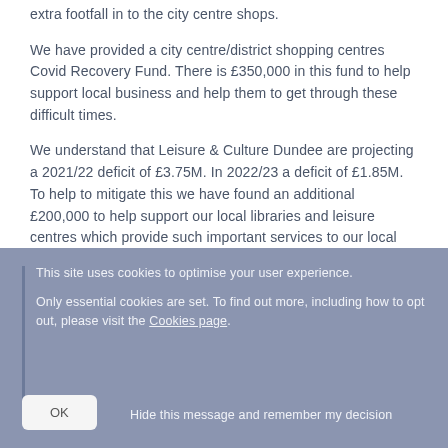extra footfall in to the city centre shops.
We have provided a city centre/district shopping centres Covid Recovery Fund.  There is £350,000 in this fund to help support local business and help them to get through these difficult times.
We understand that Leisure & Culture Dundee are projecting a 2021/22 deficit of £3.75M.  In 2022/23 a deficit of £1.85M.  To help to mitigate this we have found an additional £200,000 to help support our local libraries and leisure centres which provide such important services to our local communities."
This site uses cookies to optimise your user experience.

Only essential cookies are set. To find out more, including how to opt out, please visit the Cookies page.
OK   Hide this message and remember my decision